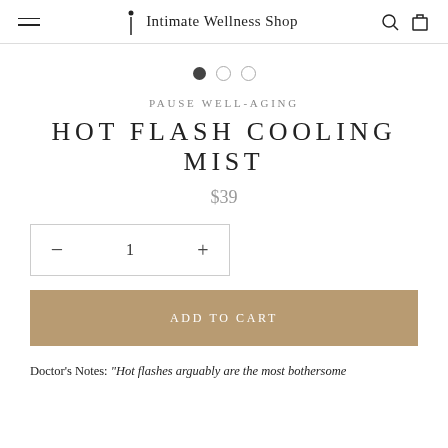Intimate Wellness Shop
[Figure (other): Carousel pagination dots: one filled dark dot and two empty circle dots]
PAUSE WELL-AGING
HOT FLASH COOLING MIST
$39
[Figure (other): Quantity selector box with minus button, quantity 1, and plus button]
[Figure (other): Add to Cart button in tan/gold color]
Doctor's Notes: "Hot flashes arguably are the most bothersome